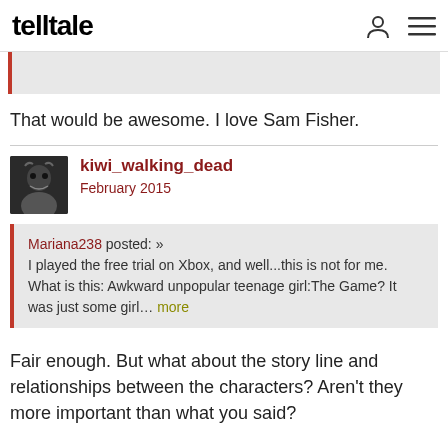telltale
That would be awesome. I love Sam Fisher.
kiwi_walking_dead
February 2015
Mariana238 posted: » I played the free trial on Xbox, and well...this is not for me. What is this: Awkward unpopular teenage girl:The Game? It was just some girl... more
Fair enough. But what about the story line and relationships between the characters? Aren't they more important than what you said?